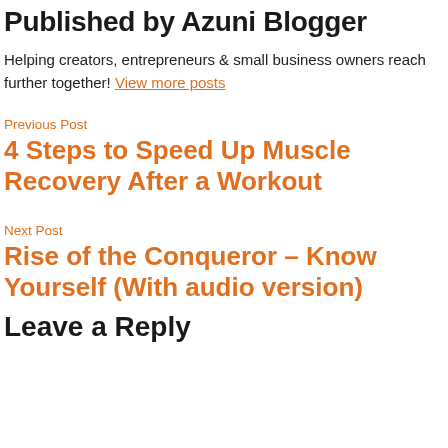Published by Azuni Blogger
Helping creators, entrepreneurs & small business owners reach further together! View more posts
Previous Post
4 Steps to Speed Up Muscle Recovery After a Workout
Next Post
Rise of the Conqueror – Know Yourself (With audio version)
Leave a Reply